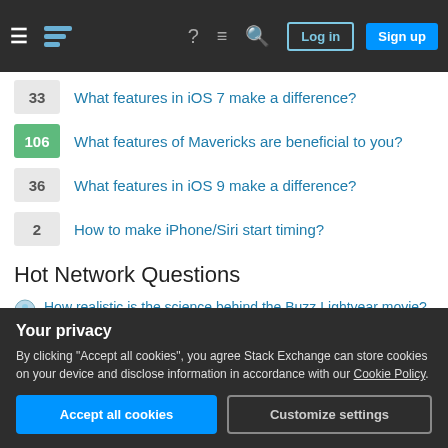Stack Exchange navigation bar with Log in and Sign up buttons
33 — What features in iOS 7 make a difference?
106 — What features of Mavericks are beneficial to you?
36 — What features in iOS 9 make a difference?
2 — How to make iPhone/Siri start timing?
Hot Network Questions
How realistic is the science behind the Buzz Lightyear movie?
How can I (Indian, 28) visit my fiance (pursuing MS in US) for a few months?
Your privacy
By clicking "Accept all cookies", you agree Stack Exchange can store cookies on your device and disclose information in accordance with our Cookie Policy.
Accept all cookies   Customize settings
How to align instances to mesh normals ? (mesh created from a curve